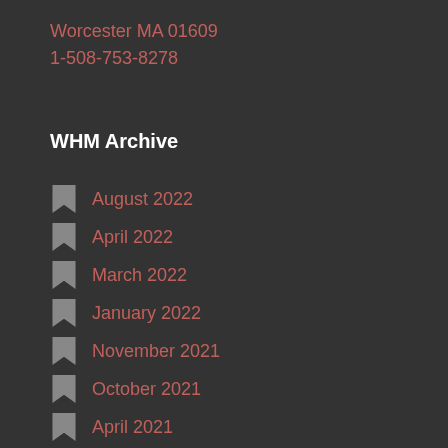Worcester MA 01609
1-508-753-8278
WHM Archive
August 2022
April 2022
March 2022
January 2022
November 2021
October 2021
April 2021
March 2021